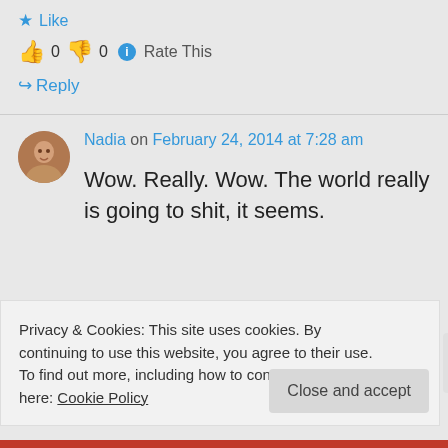★ Like
👍 0 👎 0 ℹ Rate This
↪ Reply
Nadia on February 24, 2014 at 7:28 am
Wow. Really. Wow. The world really is going to shit, it seems.
Privacy & Cookies: This site uses cookies. By continuing to use this website, you agree to their use.
To find out more, including how to control cookies, see here: Cookie Policy
Close and accept